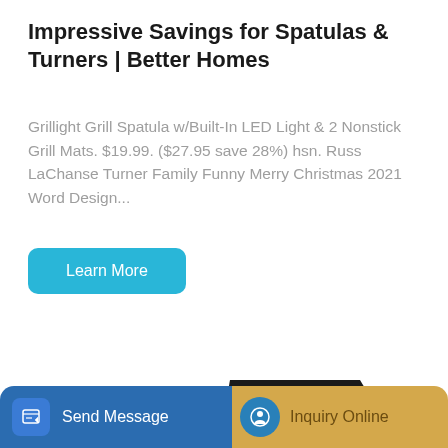Impressive Savings for Spatulas & Turners | Better Homes
Grillight Grill Spatula w/Built-In LED Light & 2 Nonstick Grill Mats. $19.99. ($27.95 save 28%) hsn. Russ LaChanse Turner Family Funny Merry Christmas 2021 Word Design...
Learn More
[Figure (photo): Yellow mini excavator with black canopy on white background]
Send Message
Inquiry Online